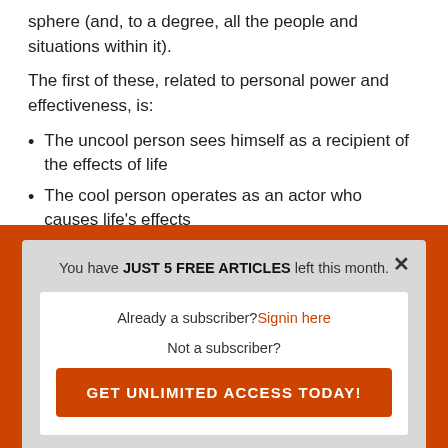sphere (and, to a degree, all the people and situations within it).
The first of these, related to personal power and effectiveness, is:
The uncool person sees himself as a recipient of the effects of life
The cool person operates as an actor who causes life's effects
You have JUST 5 FREE ARTICLES left this month.
Already a subscriber? Signin here
Not a subscriber?
GET UNLIMITED ACCESS TODAY!